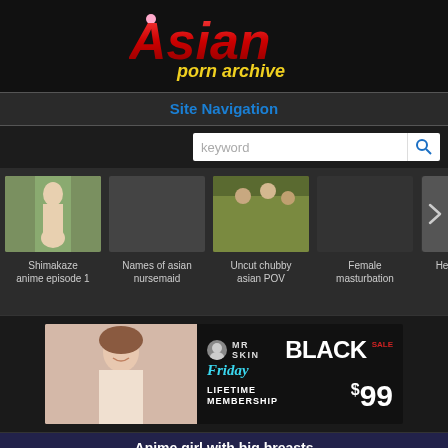[Figure (logo): Asian Porn Archive logo with red stylized text 'Asian' and yellow text 'porn archive' on dark background]
Site Navigation
keyword (search box)
[Figure (photo): Thumbnail images: blonde woman from behind outdoors; group scene; and three more labeled items in a horizontal carousel with navigation arrow]
Shimakaze anime episode 1   Names of asian nursemaid   Uncut chubby asian POV   Female masturbation   Hentai kouga x kagome
[Figure (screenshot): Mr Skin Black Friday Sale advertisement banner - Lifetime Membership $99]
Anime girl with big breasts